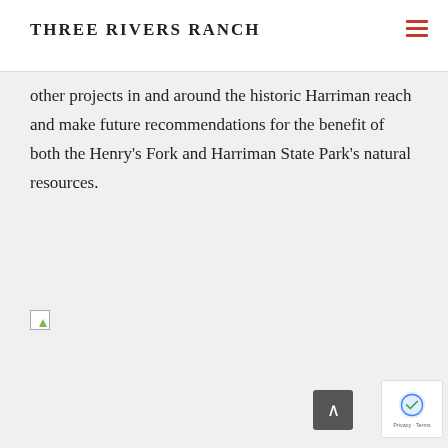Three Rivers Ranch
other projects in and around the historic Harriman reach and make future recommendations for the benefit of both the Henry’s Fork and Harriman State Park’s natural resources.
[Figure (illustration): Broken image placeholder icon]
[Figure (other): reCAPTCHA badge with Privacy and Terms links]